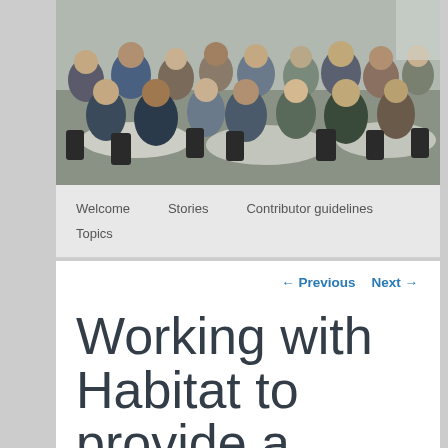[Figure (photo): Group of people seated at round tables in a conference or community event setting, viewed from behind and sides, black chairs, white tablecloths.]
Welcome
Stories
Contributor guidelines
Topics
← Previous   Next →
Working with Habitat to provide a place to live